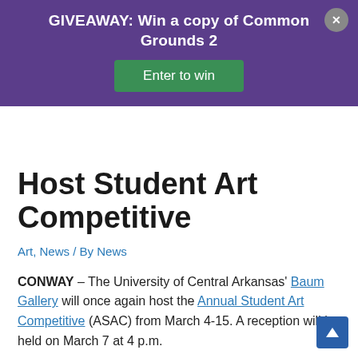GIVEAWAY: Win a copy of Common Grounds 2
Host Student Art Competitive
Art, News / By News
CONWAY – The University of Central Arkansas' Baum Gallery will once again host the Annual Student Art Competitive (ASAC) from March 4-15. A reception will be held on March 7 at 4 p.m.
During this event, UCA students are allowed to submit up to three different pieces for possible inclusion. All works are then jurored, and multiple awards are given. This is an opportunity for students to participate in a curated museum